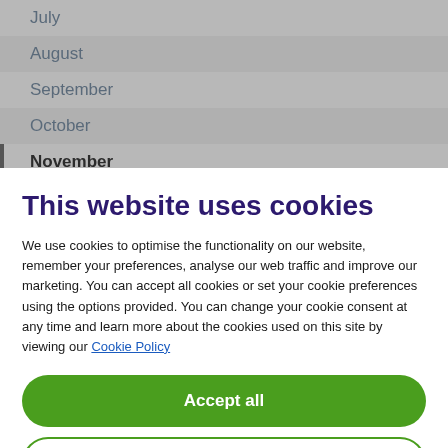July
August
September
October
November
This website uses cookies
We use cookies to optimise the functionality on our website, remember your preferences, analyse our web traffic and improve our marketing. You can accept all cookies or set your cookie preferences using the options provided. You can change your cookie consent at any time and learn more about the cookies used on this site by viewing our Cookie Policy
Accept all
Cookie Preferences